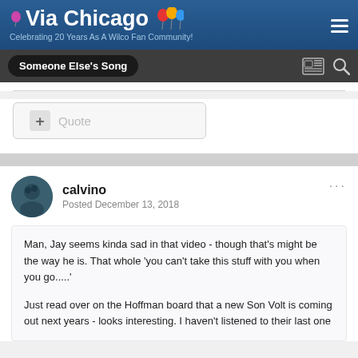Via Chicago — Celebrating 20 Years As A Wilco Fan Community!
Someone Else's Song
+ Quote
calvino
Posted December 13, 2018
Man, Jay seems kinda sad in that video - though that's might be the way he is. That whole 'you can't take this stuff with you when you go.....'

Just read over on the Hoffman board that a new Son Volt is coming out next years - looks interesting. I haven't listened to their last one